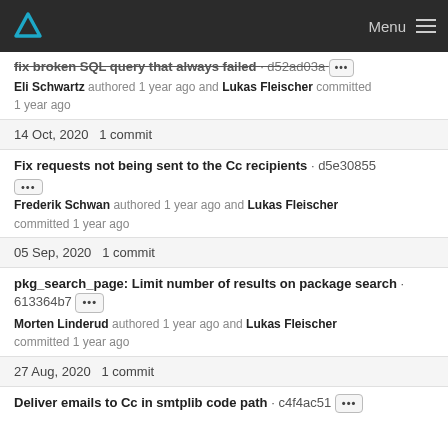Menu
fix broken SQL query that always failed · d52ad03a ··· Eli Schwartz authored 1 year ago and Lukas Fleischer committed 1 year ago
14 Oct, 2020 1 commit
Fix requests not being sent to the Cc recipients · d5e30855 ··· Frederik Schwan authored 1 year ago and Lukas Fleischer committed 1 year ago
05 Sep, 2020 1 commit
pkg_search_page: Limit number of results on package search · 613364b7 ··· Morten Linderud authored 1 year ago and Lukas Fleischer committed 1 year ago
27 Aug, 2020 1 commit
Deliver emails to Cc in smtplib code path · c4f4ac51 ···